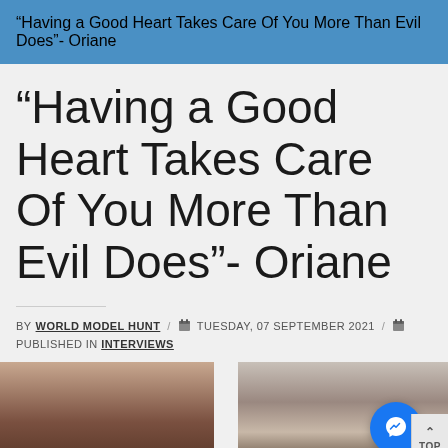“Having a Good Heart Takes Care Of You More Than Evil Does”- Oriane
“Having a Good Heart Takes Care Of You More Than Evil Does”- Oriane
BY WORLD MODEL HUNT / TUESDAY, 07 SEPTEMBER 2021 / PUBLISHED IN INTERVIEWS
[Figure (photo): Two side-by-side photos of a dark-skinned female model posing. Left photo shows her with arms raised, right photo shows her from a different angle. A Facebook Messenger button overlay and a TOP scroll button are visible.]